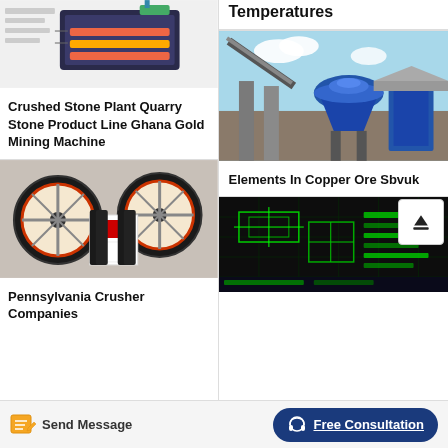[Figure (photo): Industrial crushing/screening machine with Chinese text labels, dark blue/grey machinery on white background]
Crushed Stone Plant Quarry Stone Product Line Ghana Gold Mining Machine
[Figure (photo): Pennsylvania jaw crusher machines with large red and black flywheel wheels, white body, industrial setting]
Pennsylvania Crusher Companies
Temperatures
[Figure (photo): Blue cone crusher and conveyor belt system at an industrial mining site]
Elements In Copper Ore Sbvuk
[Figure (screenshot): CAD/engineering drawing on dark background with green text and lines showing plant layout]
Send Message
Free Consultation